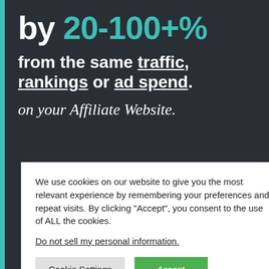by 20-100+%
from the same traffic, rankings or ad spend.
on your Affiliate Website.
We use cookies on our website to give you the most relevant experience by remembering your preferences and repeat visits. By clicking “Accept”, you consent to the use of ALL the cookies.
Do not sell my personal information.
D OR
MENTIONED ON